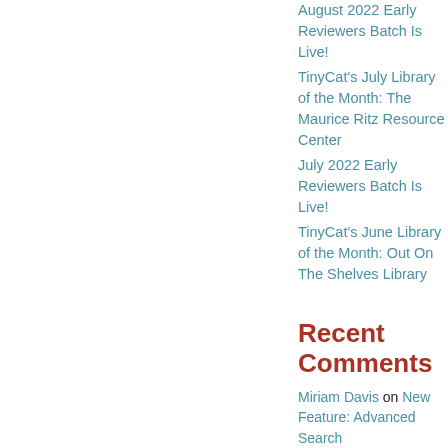August 2022 Early Reviewers Batch Is Live!
TinyCat's July Library of the Month: The Maurice Ritz Resource Center
July 2022 Early Reviewers Batch Is Live!
TinyCat's June Library of the Month: Out On The Shelves Library
Recent Comments
Miriam Davis on New Feature: Advanced Search
Abigail Adams on Top Five Books of 2021
Connie53 on Top Five Books of 2021
Connie53 on Top Five Books of 2021
Kristi de Bree on LibraryThing App!
Archives
August 2022